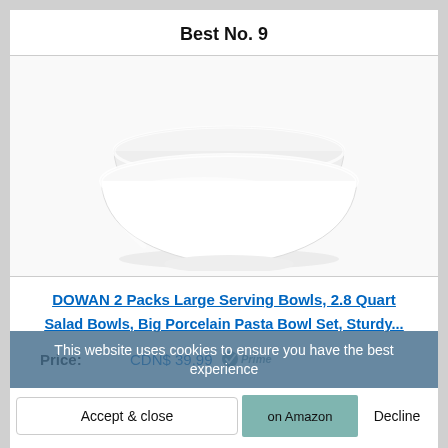Best No.  9
[Figure (photo): Two stacked white porcelain serving bowls on a white background]
DOWAN 2 Packs Large Serving Bowls, 2.8 Quart Salad Bowls, Big Porcelain Pasta Bowl Set, Sturdy...
Price: CDN$ 39.99 Prime
This website uses cookies to ensure you have the best experience
Accept & close   on Amazon   Decline